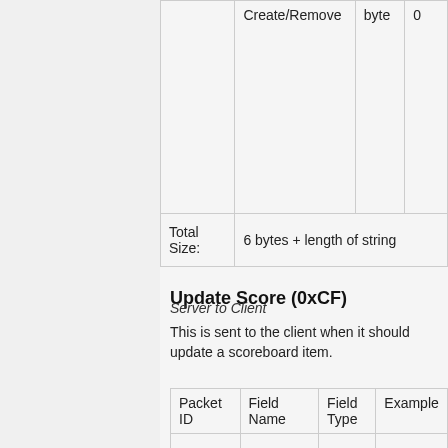|  | Field Name | Field Type | Example |
| --- | --- | --- | --- |
|  | Create/Remove | byte | 0 |
| Total Size: | 6 bytes + length of string |  |  |
Update Score (0xCF)
Server to Client
This is sent to the client when it should update a scoreboard item.
| Packet ID | Field Name | Field Type | Example |
| --- | --- | --- | --- |